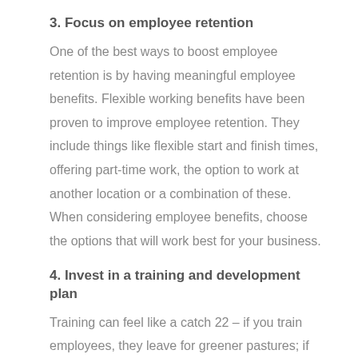3. Focus on employee retention
One of the best ways to boost employee retention is by having meaningful employee benefits. Flexible working benefits have been proven to improve employee retention. They include things like flexible start and finish times, offering part-time work, the option to work at another location or a combination of these. When considering employee benefits, choose the options that will work best for your business.
4. Invest in a training and development plan
Training can feel like a catch 22 – if you train employees, they leave for greener pastures; if